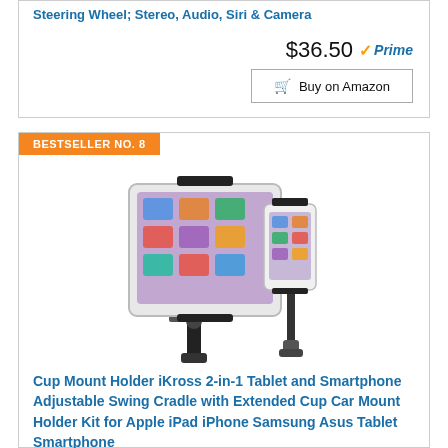Steering Wheel; Stereo, Audio, Siri & Camera
$36.50 ✓Prime
Buy on Amazon
BESTSELLER NO. 8
[Figure (photo): Cup Mount Holder iKross 2-in-1 product photo showing a tablet and smartphone mounted on adjustable swing cradle cup holders]
Cup Mount Holder iKross 2-in-1 Tablet and Smartphone Adjustable Swing Cradle with Extended Cup Car Mount Holder Kit for Apple iPad iPhone Samsung Asus Tablet Smartphone